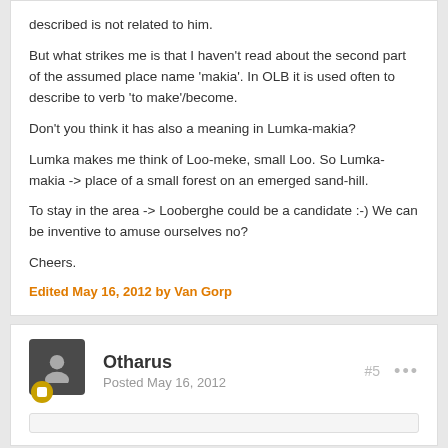described is not related to him.
But what strikes me is that I haven't read about the second part of the assumed place name 'makia'. In OLB it is used often to describe to verb 'to make'/become.
Don't you think it has also a meaning in Lumka-makia?
Lumka makes me think of Loo-meke, small Loo. So Lumka-makia -> place of a small forest on an emerged sand-hill.
To stay in the area -> Looberghe could be a candidate :-) We can be inventive to amuse ourselves no?
Cheers.
Edited May 16, 2012 by Van Gorp
Otharus
Posted May 16, 2012
#5